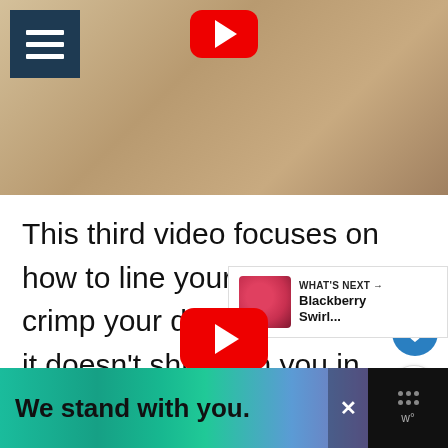[Figure (screenshot): YouTube video thumbnail showing a person in white chef clothing mixing ingredients in a glass bowl, with YouTube play button overlay and hamburger menu icon in top-left corner.]
This third video focuses on how to line your pan and crimp your dough to ensure it doesn't shrink on you in the oven.
[Figure (screenshot): Partial YouTube logo/play button visible at bottom of screen, partially cropped.]
[Figure (screenshot): Advertisement banner at bottom reading 'We stand with you.' with colorful gradient background and close/menu buttons.]